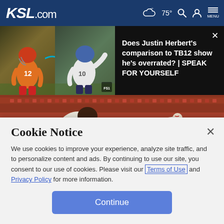KSL.com — 75° — Search — Account — Menu
[Figure (screenshot): Video promo thumbnail showing two football players (one in orange #12 jersey, one in white #10 jersey) side by side with arrow between them]
Does Justin Herbert's comparison to TB12 show he's overrated? | SPEAK FOR YOURSELF
[Figure (photo): Baseball player in Red Sox white uniform pitching, red stadium seats in background]
Cookie Notice
We use cookies to improve your experience, analyze site traffic, and to personalize content and ads. By continuing to use our site, you consent to our use of cookies. Please visit our Terms of Use and Privacy Policy for more information.
Continue